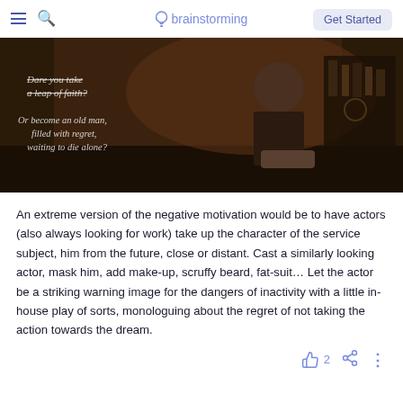brainstorming | Get Started
[Figure (photo): Dark cinematic still of an older man in a suit sitting at a bar, with white italic text overlay reading: 'Dare you take a leap of faith? Or become an old man, filled with regret, waiting to die alone?']
An extreme version of the negative motivation would be to have actors (also always looking for work) take up the character of the service subject, him from the future, close or distant. Cast a similarly looking actor, mask him, add make-up, scruffy beard, fat-suit... Let the actor be a striking warning image for the dangers of inactivity with a little in-house play of sorts, monologuing about the regret of not taking the action towards the dream.